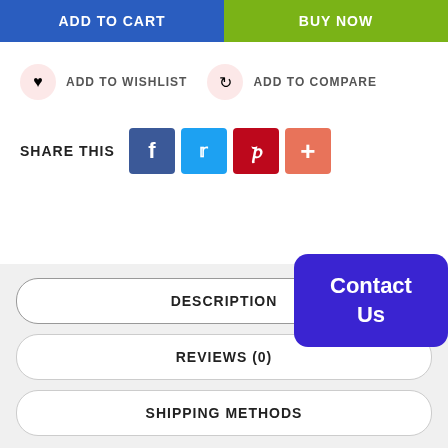ADD TO CART
BUY NOW
ADD TO WISHLIST
ADD TO COMPARE
SHARE THIS
[Figure (infographic): Social share buttons: Facebook (blue), Twitter (light blue), Pinterest (red), plus button (orange-red)]
DESCRIPTION
REVIEWS (0)
SHIPPING METHODS
Contact Us